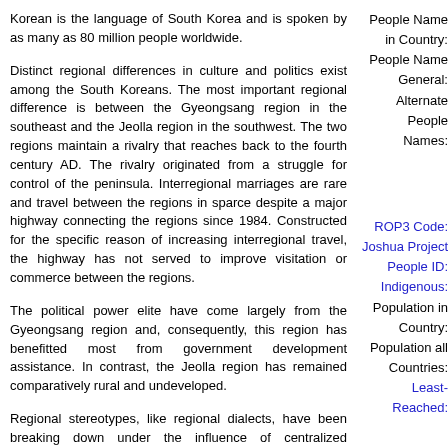Korean is the language of South Korea and is spoken by as many as 80 million people worldwide.
Distinct regional differences in culture and politics exist among the South Koreans. The most important regional difference is between the Gyeongsang region in the southeast and the Jeolla region in the southwest. The two regions maintain a rivalry that reaches back to the fourth century AD. The rivalry originated from a struggle for control of the peninsula. Interregional marriages are rare and travel between the regions in sparce despite a major highway connecting the regions since 1984. Constructed for the specific reason of increasing interregional travel, the highway has not served to improve visitation or commerce between the regions.
The political power elite have come largely from the Gyeongsang region and, consequently, this region has benefitted most from government development assistance. In contrast, the Jeolla region has remained comparatively rural and undeveloped.
Regional stereotypes, like regional dialects, have been breaking down under the influence of centralized education, nationwide media, and several decades of population movement since the Korean War. Stereotypes remain important in the eyes of many South Koreans however. Each
People Name in Country:
People Name General:
Alternate People Names:
ROP3 Code:
Joshua Project People ID:
Indigenous:
Population in Country:
Population all Countries:
Least-Reached:
Affinity Bloc:
People Cluster:
People Name General:
Ethnic Code:
Ethnic Relationships:
Primary Language: